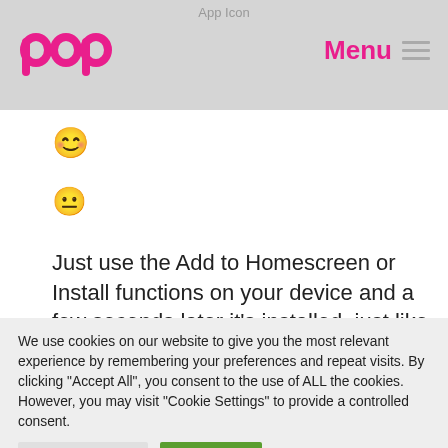App Icon
[Figure (logo): POP logo in pink/magenta with Menu text and hamburger icon]
[Figure (illustration): Smiling face emoji 😊]
[Figure (illustration): Confused/neutral face emoji 😐]
Just use the Add to Homescreen or Install functions on your device and a few seconds later it's installed, just like a native app, without the need for app stores and having to dig around there
We use cookies on our website to give you the most relevant experience by remembering your preferences and repeat visits. By clicking "Accept All", you consent to the use of ALL the cookies. However, you may visit "Cookie Settings" to provide a controlled consent.